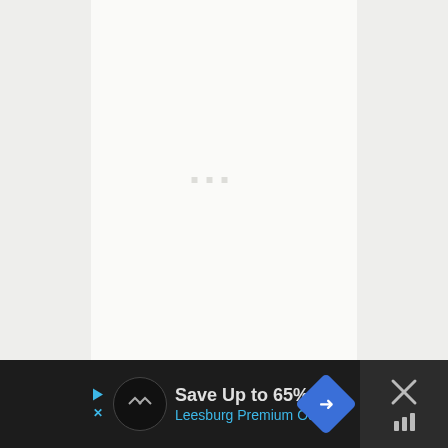[Figure (other): Nearly blank white document page with three faint small square dots/marks near the center, surrounded by light grey sidebars]
[Figure (infographic): Advertisement banner at bottom: dark background with play/close arrows on left, circular logo icon, bold text 'Save Up to 65%' in light color, 'Leesburg Premium Outlets' in blue, blue diamond-shaped direction arrow icon on right, and an X close button with weather/temperature icon on far right]